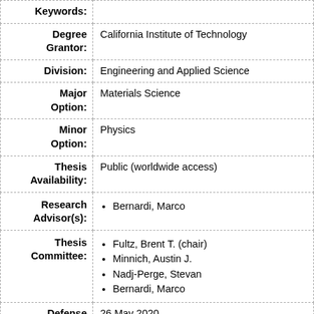| Field | Value |
| --- | --- |
| Keywords: |  |
| Degree Grantor: | California Institute of Technology |
| Division: | Engineering and Applied Science |
| Major Option: | Materials Science |
| Minor Option: | Physics |
| Thesis Availability: | Public (worldwide access) |
| Research Advisor(s): | Bernardi, Marco |
| Thesis Committee: | Fultz, Brent T. (chair); Minnich, Austin J.; Nadj-Perge, Stevan; Bernardi, Marco |
| Defense Date: | 26 May 2020 |
| Non-Caltech Author | louis161789 (AT) gmail.com |